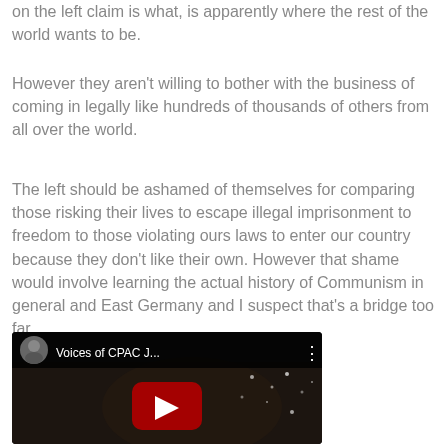on the left claim is what, is apparently where the rest of the world wants to be.
However they aren't willing to bother with the business of coming in legally like hundreds of thousands of others from all over the world.
The left should be ashamed of themselves for comparing those risking their lives to escape illegal imprisonment to freedom to those violating ours laws to enter our country because they don't like their own. However that shame would involve learning the actual history of Communism in general and East Germany and I suspect that's a bridge too far.
[Figure (screenshot): YouTube video thumbnail showing 'Voices of CPAC J...' with a play button overlay, dark background with a person visible, YouTube-style top bar with avatar and title]